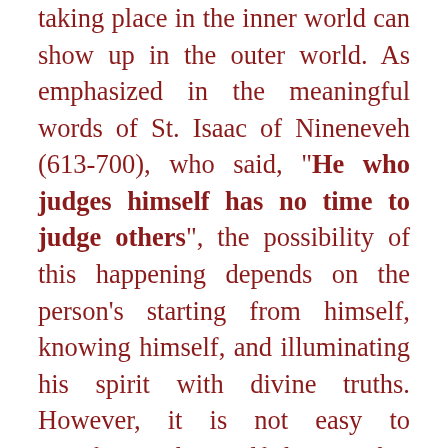taking place in the inner world can show up in the outer world. As emphasized in the meaningful words of St. Isaac of Nineneveh (613-700), who said, "He who judges himself has no time to judge others", the possibility of this happening depends on the person's starting from himself, knowing himself, and illuminating his spirit with divine truths. However, it is not easy to transform the selfishness that harms the inner world, to overcome the jealousy which ruins the spirit, to shed the false self and seek deliverance from it. Though it may be a difficult, thorny, and painful process, people cannot return to what is essential, their essence, the spirit without reading or being able to read their own book. They cannot tap into their